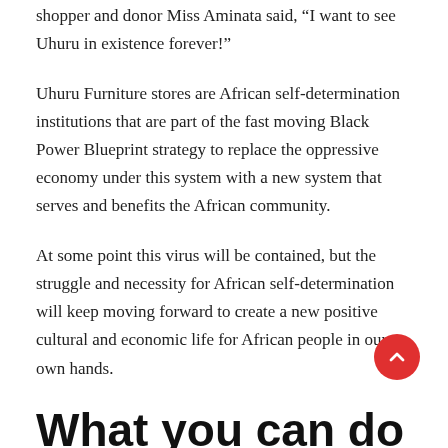shopper and donor Miss Aminata said, “I want to see Uhuru in existence forever!”
Uhuru Furniture stores are African self-determination institutions that are part of the fast moving Black Power Blueprint strategy to replace the oppressive economy under this system with a new system that serves and benefits the African community.
At some point this virus will be contained, but the struggle and necessity for African self-determination will keep moving forward to create a new positive cultural and economic life for African people in our own hands.
What you can do to